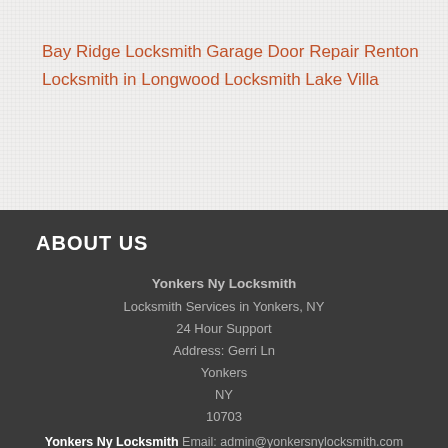Bay Ridge Locksmith
Garage Door Repair Renton
Locksmith in Longwood
Locksmith Lake Villa
ABOUT US
Yonkers Ny Locksmith
Locksmith Services in Yonkers, NY
24 Hour Support
Address: Gerri Ln
Yonkers
NY
10703
Yonkers Ny Locksmith Email: admin@yonkersnylocksmith.com